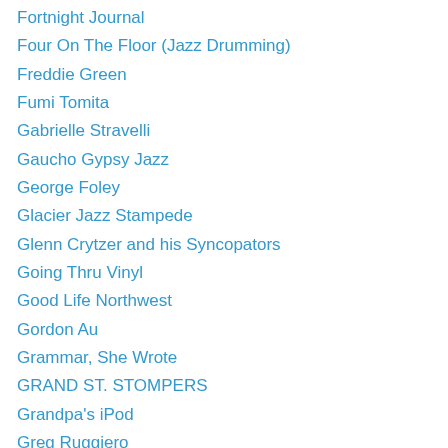Fortnight Journal
Four On The Floor (Jazz Drumming)
Freddie Green
Fumi Tomita
Gabrielle Stravelli
Gaucho Gypsy Jazz
George Foley
Glacier Jazz Stampede
Glenn Crytzer and his Syncopators
Going Thru Vinyl
Good Life Northwest
Gordon Au
Grammar, She Wrote
GRAND ST. STOMPERS
Grandpa's iPod
Greg Ruggiero
Gypsy Jazz Guitar Online
Hal Smith Music
HappyFeetJazz
Harambee Radio Network